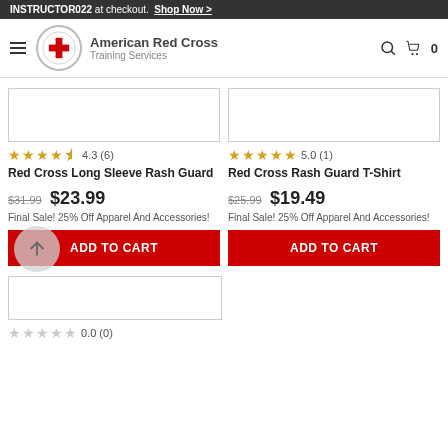INSTRUCTOR022 at checkout. Shop Now >
[Figure (logo): American Red Cross Training Services logo with red cross emblem]
American Red Cross Training Services
[Figure (other): Product image placeholder for Red Cross Long Sleeve Rash Guard]
4.3 (6)
Red Cross Long Sleeve Rash Guard
$31.99  $23.99
Final Sale! 25% Off Apparel And Accessories!
ADD TO CART
[Figure (other): Product image placeholder for Red Cross Rash Guard T-Shirt]
5.0 (1)
Red Cross Rash Guard T-Shirt
$25.99  $19.49
Final Sale! 25% Off Apparel And Accessories!
ADD TO CART
[Figure (other): Third product image placeholder]
0.0 (0)